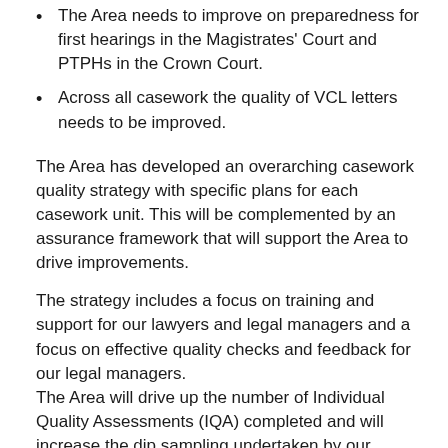The Area needs to improve on preparedness for first hearings in the Magistrates' Court and PTPHs in the Crown Court.
Across all casework the quality of VCL letters needs to be improved.
The Area has developed an overarching casework quality strategy with specific plans for each casework unit. This will be complemented by an assurance framework that will support the Area to drive improvements.
The strategy includes a focus on training and support for our lawyers and legal managers and a focus on effective quality checks and feedback for our legal managers.
The Area will drive up the number of Individual Quality Assessments (IQA) completed and will increase the dip sampling undertaken by our Senior District Crown Prosecutors and Deputy Chief Crown Prosecutors.